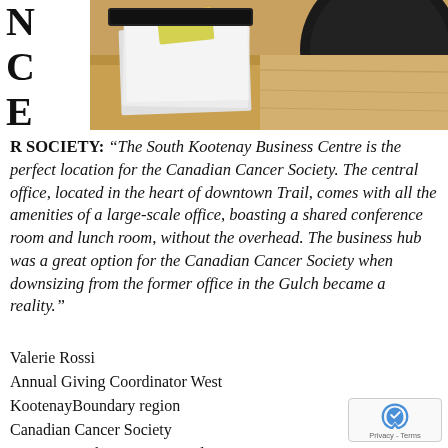[Figure (photo): Office desk scene with stacked papers, a document tray, a yellow slip, and a dark handbag/chair in the background on a wooden desk surface]
N
C
E
R SOCIETY: “The South Kootenay Business Centre is the perfect location for the Canadian Cancer Society. The central office, located in the heart of downtown Trail, comes with all the amenities of a large-scale office, boasting a shared conference room and lunch room, without the overhead. The business hub was a great option for the Canadian Cancer Society when downsizing from the former office in the Gulch became a reality.”
Valerie Rossi
Annual Giving Coordinator West KootenayBoundary region
Canadian Cancer Society
#15, 825 Spokane Street, Trail BC